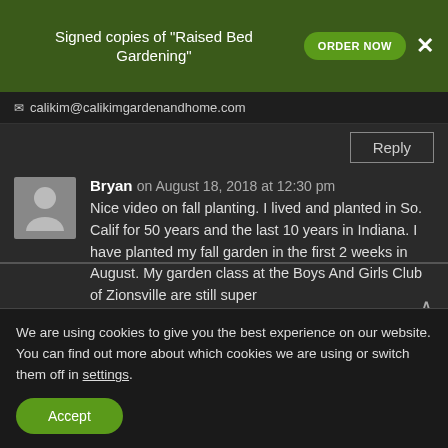[Figure (infographic): Website banner advertising signed copies of 'Raised Bed Gardening' with ORDER NOW button and close X]
calikim@calikimgardenandhome.com
Reply
Bryan on August 18, 2018 at 12:30 pm
Nice video on fall planting. I lived and planted in So. Calif for 50 years and the last 10 years in Indiana. I have planted my fall garden in the first 2 weeks in August. My garden class at the Boys And Girls Club of Zionsville are still super
We are using cookies to give you the best experience on our website.
You can find out more about which cookies we are using or switch them off in settings.
Accept